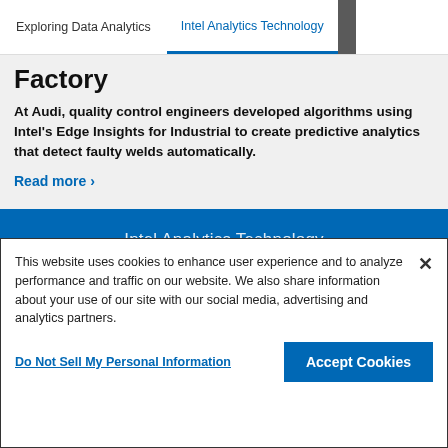Exploring Data Analytics | Intel Analytics Technology
Factory
At Audi, quality control engineers developed algorithms using Intel's Edge Insights for Industrial to create predictive analytics that detect faulty welds automatically.
Read more ›
Intel Analytics Technology
This website uses cookies to enhance user experience and to analyze performance and traffic on our website. We also share information about your use of our site with our social media, advertising and analytics partners.
Do Not Sell My Personal Information
Accept Cookies